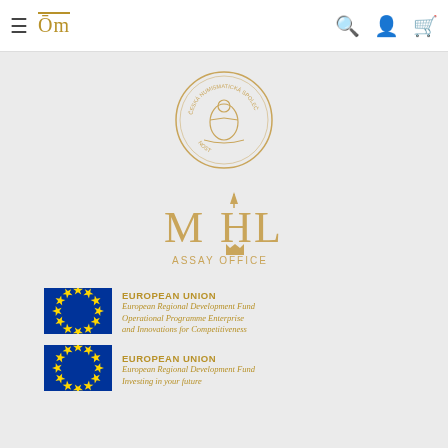≡ ĊM [navigation bar with search, user, cart icons]
[Figure (logo): Česká numismatická společnost circular medallion seal logo in gold/tan color]
[Figure (logo): MHL Assay Office logo with gothic lettering and crown in gold/tan color]
[Figure (logo): European Union flag with gold stars on blue background - EU Regional Development Fund Operational Programme Enterprise and Innovations for Competitiveness]
[Figure (logo): European Union flag with gold stars on blue background - EU Regional Development Fund Investing in your future]